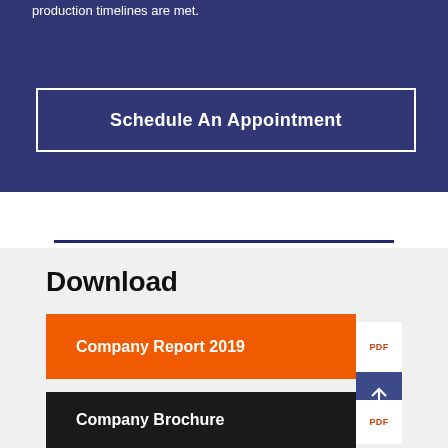production timelines are met.
Schedule An Appointment
Download
Company Report 2019
PDF
Company Brochure
PDF